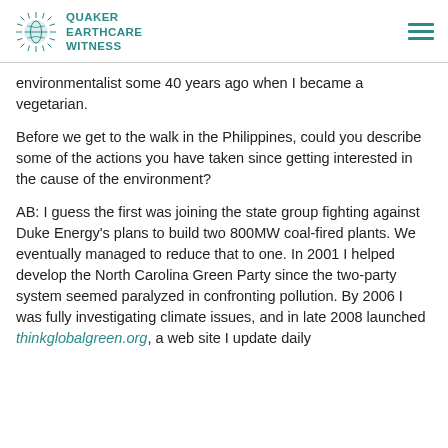Quaker Earthcare Witness
environmentalist some 40 years ago when I became a vegetarian.
Before we get to the walk in the Philippines, could you describe some of the actions you have taken since getting interested in the cause of the environment?
AB: I guess the first was joining the state group fighting against Duke Energy’s plans to build two 800MW coal-fired plants. We eventually managed to reduce that to one. In 2001 I helped develop the North Carolina Green Party since the two-party system seemed paralyzed in confronting pollution. By 2006 I was fully investigating climate issues, and in late 2008 launched thinkglobalgreen.org, a web site I update daily